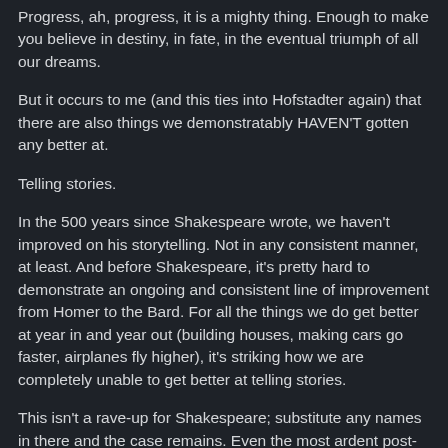Progress, ah, progress, it is a mighty thing. Enough to make you believe in destiny, in fate, in the eventual triumph of all our dreams.
But it occurs to me (and this ties into Hofstadter again) that there are also things we demonstratably HAVEN'T gotten any better at.
Telling stories.
In the 500 years since Shakespeare wrote, we haven't improved on his storytelling. Not in any consistent manner, at least. And before Shakespeare, it's pretty hard to demonstrate an ongoing and consistent line of improvement from Homer to the Bard. For all the things we do get better at year in and year out (building houses, making cars go faster, airplanes fly higher), it's striking how we are completely unable to get better at telling stories.
This isn't a rave-up for Shakespeare; substitute any names in there and the case remains. Even the most ardent post-modernist is going to have trouble showing how story-telling